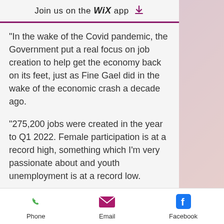Join us on the WiX app ↓
“In the wake of the Covid pandemic, the Government put a real focus on job creation to help get the economy back on its feet, just as Fine Gael did in the wake of the economic crash a decade ago.
“275,200 jobs were created in the year to Q1 2022. Female participation is at a record high, something which I’m very passionate about and youth unemployment is at a record low.
“Fine Gael is working to build stronger safer communities and job creation
Phone | Email | Facebook